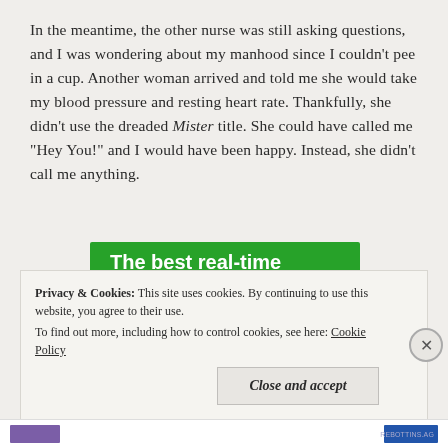In the meantime, the other nurse was still asking questions, and I was wondering about my manhood since I couldn't pee in a cup. Another woman arrived and told me she would take my blood pressure and resting heart rate. Thankfully, she didn't use the dreaded Mister title. She could have called me "Hey You!" and I would have been happy. Instead, she didn't call me anything.
[Figure (other): Green advertisement banner for WordPress backup plugin reading 'The best real-time WordPress backup plugin' with a 'Back up your site' button]
Privacy & Cookies: This site uses cookies. By continuing to use this website, you agree to their use.
To find out more, including how to control cookies, see here: Cookie Policy
Close and accept